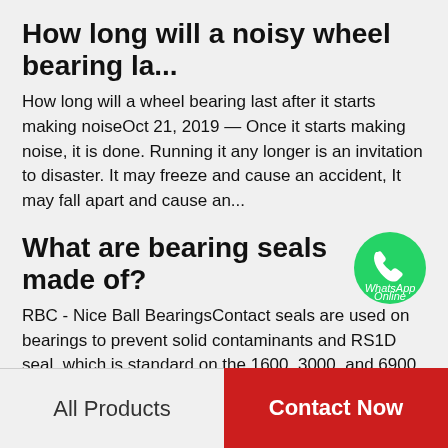How long will a noisy wheel bearing la...
How long will a wheel bearing last after it starts making noiseOct 21, 2019 — Once it starts making noise, it is done. Running it any longer is an invitation to disaster. It may freeze and cause an accident, It may fall apart and cause an...
What are bearing seals made of?
[Figure (logo): WhatsApp green circle logo with phone icon and text 'WhatsApp Online']
RBC - Nice Ball BearingsContact seals are used on bearings to prevent solid contaminants and RS1D seal, which is standard on the 1600, 3000, and 6900 series bearings, is made of  Bearing Closures - Bearing Seals and Bearing Shields | ASTBall...
Recommended Products
All Products
Contact Now